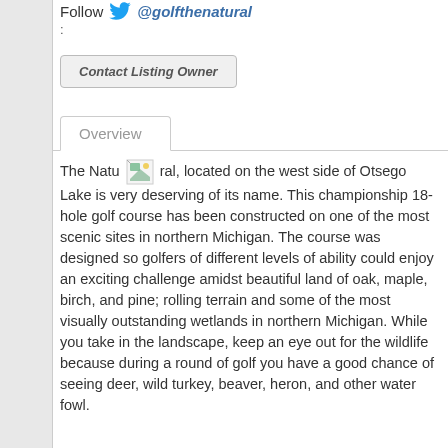Follow 🐦 @golfthenatural
:
Contact Listing Owner
Overview
The Natural, located on the west side of Otsego Lake is very deserving of its name. This championship 18-hole golf course has been constructed on one of the most scenic sites in northern Michigan. The course was designed so golfers of different levels of ability could enjoy an exciting challenge amidst beautiful land of oak, maple, birch, and pine; rolling terrain and some of the most visually outstanding wetlands in northern Michigan. While you take in the landscape, keep an eye out for the wildlife because during a round of golf you have a good chance of seeing deer, wild turkey, beaver, heron, and other water fowl.